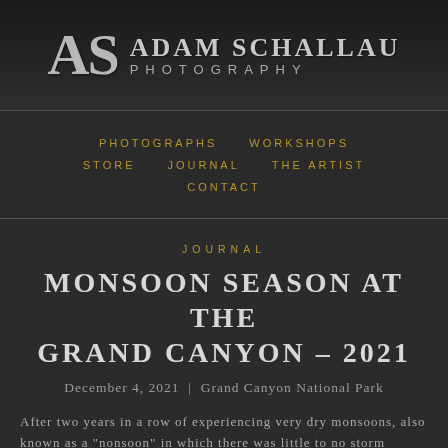AS ADAM SCHALLAU PHOTOGRAPHY
PHOTOGRAPHS
WORKSHOPS
STORE
JOURNAL
THE ARTIST
CONTACT
JOURNAL
MONSOON SEASON AT THE GRAND CANYON – 2021
December 4, 2021  |  Grand Canyon National Park
After two years in a row of experiencing very dry monsoons, also known as a "nonsoon" in which there was little to no storm activity, we finally had